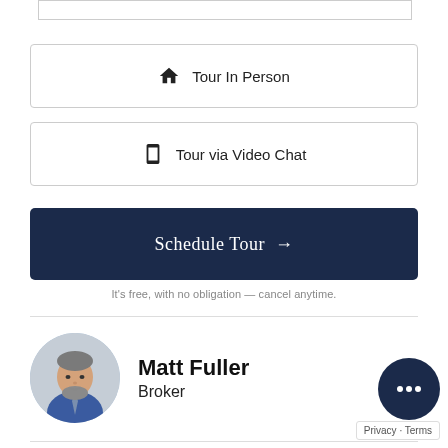[Figure (other): Input text bar at top of page]
Tour In Person
Tour via Video Chat
Schedule Tour →
It's free, with no obligation — cancel anytime.
[Figure (photo): Circular profile photo of Matt Fuller, a man with a beard wearing a blue shirt and tie]
Matt Fuller
Broker
Ask a Question
[Figure (other): Dark navy chat bubble icon with ellipsis]
Privacy · Terms